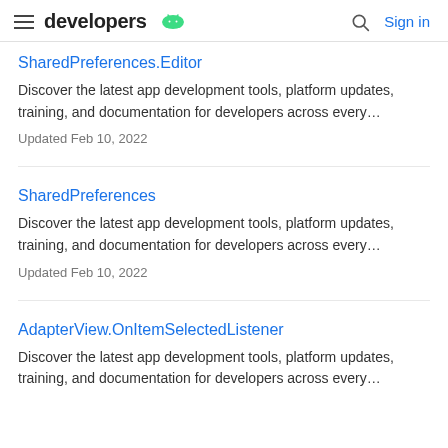developers [android icon] | Sign in
SharedPreferences.Editor
Discover the latest app development tools, platform updates, training, and documentation for developers across every…
Updated Feb 10, 2022
SharedPreferences
Discover the latest app development tools, platform updates, training, and documentation for developers across every…
Updated Feb 10, 2022
AdapterView.OnItemSelectedListener
Discover the latest app development tools, platform updates, training, and documentation for developers across every…